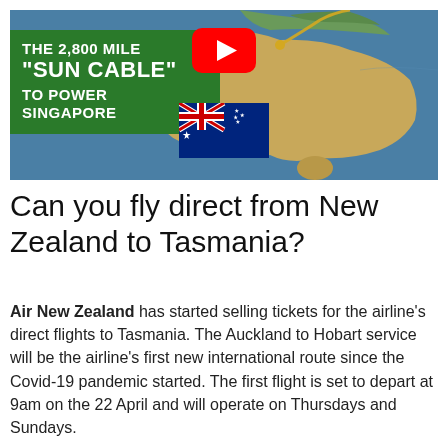[Figure (screenshot): YouTube thumbnail showing a satellite map of Australia and nearby region with a golden cable route traced from Darwin area toward Singapore. A YouTube play button (red with white triangle) is centered. A green overlay on the left reads 'THE 2,800 MILE "SUN CABLE" TO POWER SINGAPORE'. An Australian flag is overlaid in the lower-center of the map.]
Can you fly direct from New Zealand to Tasmania?
Air New Zealand has started selling tickets for the airline's direct flights to Tasmania. The Auckland to Hobart service will be the airline's first new international route since the Covid-19 pandemic started. The first flight is set to depart at 9am on the 22 April and will operate on Thursdays and Sundays.